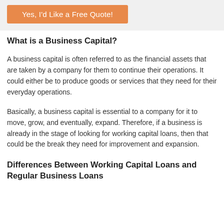[Figure (other): Orange CTA button with text 'Yes, I'd Like a Free Quote!' on a light grey background]
What is a Business Capital?
A business capital is often referred to as the financial assets that are taken by a company for them to continue their operations. It could either be to produce goods or services that they need for their everyday operations.
Basically, a business capital is essential to a company for it to move, grow, and eventually, expand. Therefore, if a business is already in the stage of looking for working capital loans, then that could be the break they need for improvement and expansion.
Differences Between Working Capital Loans and Regular Business Loans